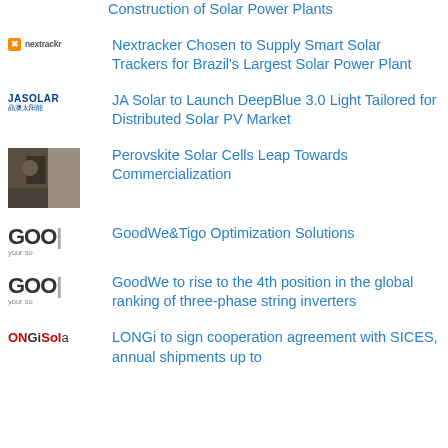Construction of Solar Power Plants
Nextracker Chosen to Supply Smart Solar Trackers for Brazil's Largest Solar Power Plant
JA Solar to Launch DeepBlue 3.0 Light Tailored for Distributed Solar PV Market
Perovskite Solar Cells Leap Towards Commercialization
GoodWe&Tigo Optimization Solutions
GoodWe to rise to the 4th position in the global ranking of three-phase string inverters
LONGi to sign cooperation agreement with SICES, annual shipments up to